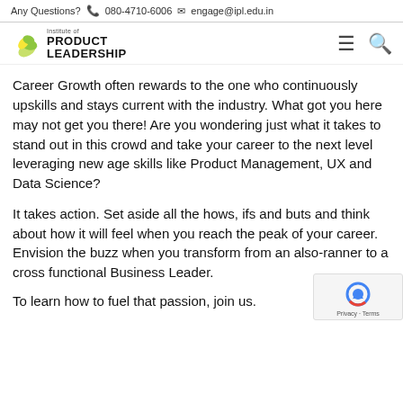Any Questions?  080-4710-6006  engage@ipl.edu.in
[Figure (logo): Institute of Product Leadership logo with green leaf graphic and bold text]
Career Growth often rewards to the one who continuously upskills and stays current with the industry. What got you here may not get you there! Are you wondering just what it takes to stand out in this crowd and take your career to the next level leveraging new age skills like Product Management, UX and Data Science?
It takes action. Set aside all the hows, ifs and buts and think about how it will feel when you reach the peak of your career. Envision the buzz when you transform from an also-ranner to a cross functional Business Leader.
To learn how to fuel that passion, join us.